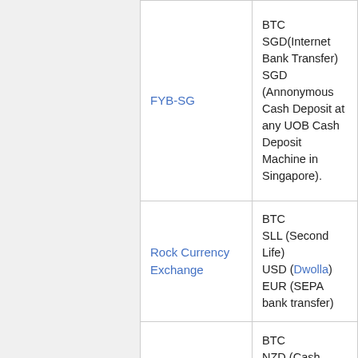| Exchange | Currencies |
| --- | --- |
| FYB-SG | BTC
SGD(Internet Bank Transfer)
SGD (Annonymous Cash Deposit at any UOB Cash Deposit Machine in Singapore). |
| Rock Currency Exchange | BTC
SLL (Second Life)
USD (Dwolla)
EUR (SEPA bank transfer) |
| bitNZ | BTC
NZD (Cash deposit at Westpac) |
| Kapiton.se | BTC
SEK (Bankgiro Bank Transfer) |